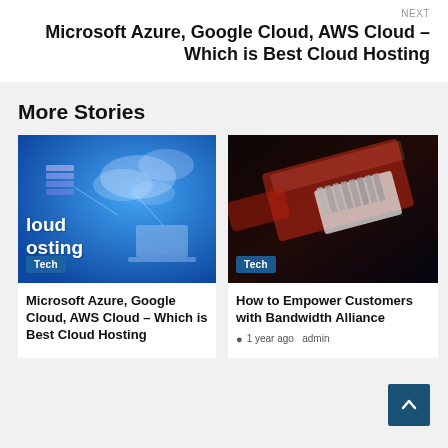NEXT
Microsoft Azure, Google Cloud, AWS Cloud – Which is Best Cloud Hosting
More Stories
[Figure (photo): Blue cloud hosting illustration with server stacks, cloud icons, and a laptop. Text overlay reads 'loud osting'. Tech badge in lower left.]
[Figure (photo): Close-up photo of a red/clear ethernet RJ45 connector on dark background. Tech badge in lower left.]
Microsoft Azure, Google Cloud, AWS Cloud – Which is Best Cloud Hosting
How to Empower Customers with Bandwidth Alliance
1 year ago  admin